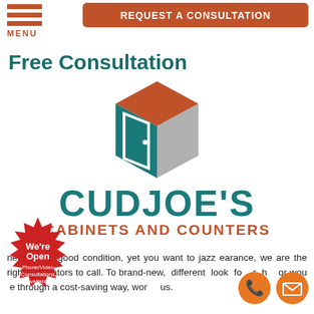[Figure (logo): Orange hamburger menu icon with three horizontal bars and MENU text below in orange]
REQUEST A CONSULTATION
Free Consultation
[Figure (logo): Cudjoe's Cabinets and Counters 3D cabinet logo: orange top, teal front panel, gray side]
CUDJOE'S CABINETS AND COUNTERS
nets are in good condition, yet you want to jazz earance, we are the right renovators to call. To brand-new, different look for your home or wou e through a cost-saving way, wor us.
[Figure (illustration): Red starburst badge with We're Open text and Phone/Video Consultations Available]
[Figure (illustration): Orange circle phone icon and orange circle email/envelope icon]